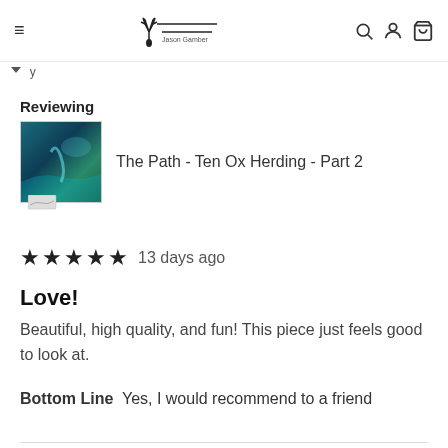Jason Gamber logo and navigation
Reviewing
The Path - Ten Ox Herding - Part 2
★★★★★  13 days ago
Love!
Beautiful, high quality, and fun! This piece just feels good to look at.
Bottom Line  Yes, I would recommend to a friend